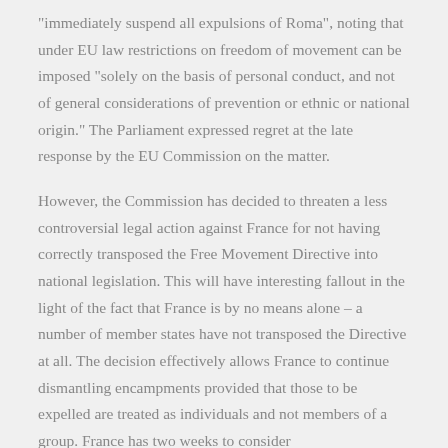“immediately suspend all expulsions of Roma”, noting that under EU law restrictions on freedom of movement can be imposed “solely on the basis of personal conduct, and not of general considerations of prevention or ethnic or national origin.” The Parliament expressed regret at the late response by the EU Commission on the matter.
However, the Commission has decided to threaten a less controversial legal action against France for not having correctly transposed the Free Movement Directive into national legislation. This will have interesting fallout in the light of the fact that France is by no means alone – a number of member states have not transposed the Directive at all. The decision effectively allows France to continue dismantling encampments provided that those to be expelled are treated as individuals and not members of a group. France has two weeks to consider